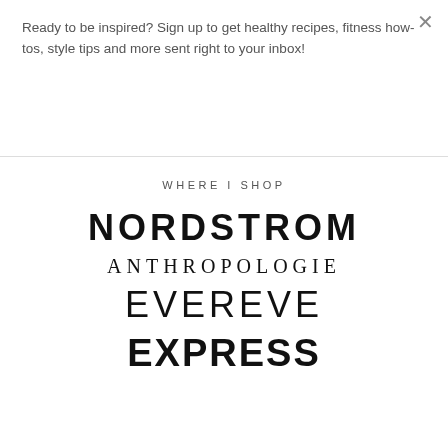Ready to be inspired? Sign up to get healthy recipes, fitness how-tos, style tips and more sent right to your inbox!
Inspire me!
WHERE I SHOP
[Figure (logo): NORDSTROM logo in bold black uppercase letters]
[Figure (logo): ANTHROPOLOGIE logo in serif uppercase letters with wide letter-spacing]
[Figure (logo): EVEREVE logo in light uppercase letters]
[Figure (logo): EXPRESS logo in bold black uppercase letters]